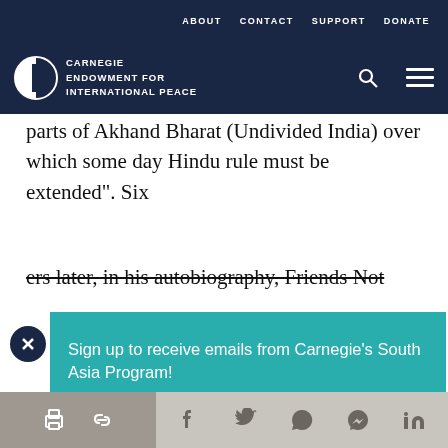ABOUT   CONTACT   SUPPORT   DONATE
CARNEGIE ENDOWMENT FOR INTERNATIONAL PEACE
parts of Akhand Bharat (Undivided India) over which some day Hindu rule must be extended". Six
ers later, in his autobiography, Friends Not
Sign up to receive emails from Carnegie’s South Asia Program!
Enter email address
SUBMIT ►
I
subsequent pieces of writing clarifying his stand,
Madhavhas explained that Akhand Bharat had to be
Share icons: print, link, Facebook, Twitter, WhatsApp, Messenger, LinkedIn